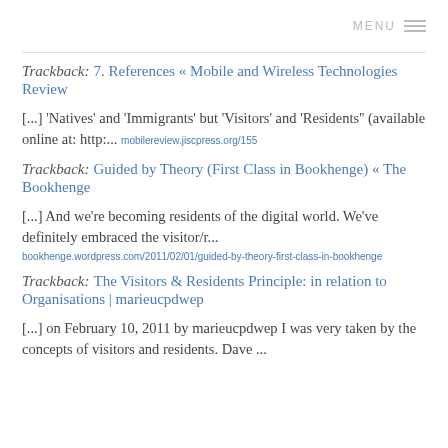MENU ≡
Trackback: 7. References « Mobile and Wireless Technologies Review
[...] 'Natives' and 'Immigrants' but 'Visitors' and 'Residents'' (available online at: http:... mobilereview.jiscpress.org/155
Trackback: Guided by Theory (First Class in Bookhenge) « The Bookhenge
[...] And we're becoming residents of the digital world. We've definitely embraced the visitor/r...
bookhenge.wordpress.com/2011/02/01/guided-by-theory-first-class-in-bookhenge
Trackback: The Visitors & Residents Principle: in relation to Organisations | marieucpdwep
[...] on February 10, 2011 by marieucpdwep I was very taken by the concepts of visitors and residents. Dave ...